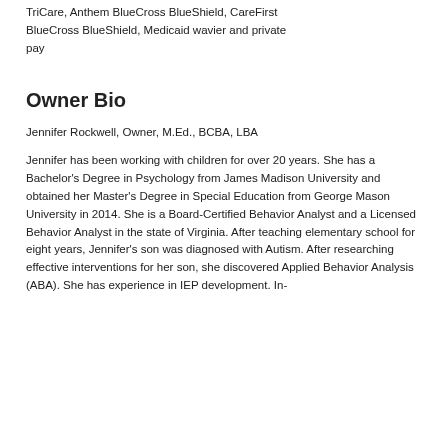TriCare, Anthem BlueCross BlueShield, CareFirst BlueCross BlueShield, Medicaid wavier and private pay
Owner Bio
Jennifer Rockwell, Owner, M.Ed., BCBA, LBA
Jennifer has been working with children for over 20 years. She has a Bachelor’s Degree in Psychology from James Madison University and obtained her Master’s Degree in Special Education from George Mason University in 2014. She is a Board-Certified Behavior Analyst and a Licensed Behavior Analyst in the state of Virginia. After teaching elementary school for eight years, Jennifer’s son was diagnosed with Autism. After researching effective interventions for her son, she discovered Applied Behavior Analysis (ABA). She has experience in IEP development. In-